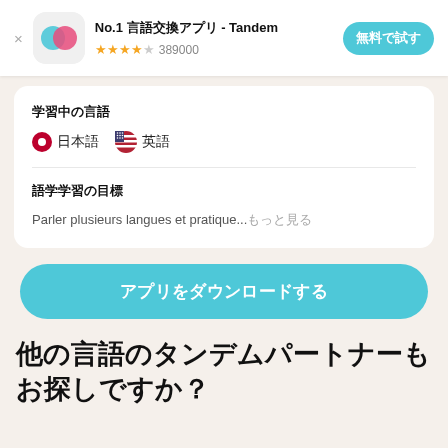No.1 言語交換アプリ - Tandem ★★★★☆ 389000 無料で試す
学習中の言語
🇯🇵 日本語　🇺🇸 英語
語学学習の目標
Parler plusieurs langues et pratique...もっと見る
アプリをダウンロードする
他の言語のタンデムパートナーもお探しですか？